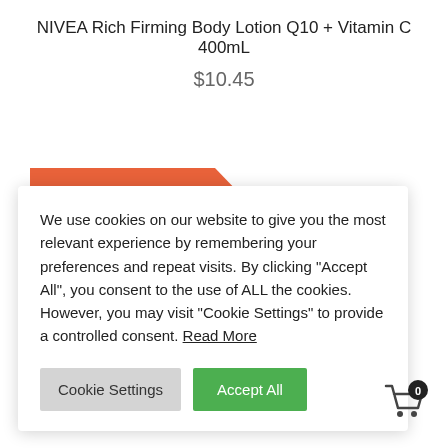NIVEA Rich Firming Body Lotion Q10 + Vitamin C 400mL
$10.45
[Figure (infographic): Orange discount badge showing 21% OFF with arrow/chevron shape]
We use cookies on our website to give you the most relevant experience by remembering your preferences and repeat visits. By clicking “Accept All”, you consent to the use of ALL the cookies. However, you may visit "Cookie Settings" to provide a controlled consent. Read More
Cookie Settings | Accept All (buttons)
[Figure (illustration): Shopping cart icon with badge showing 0 items]